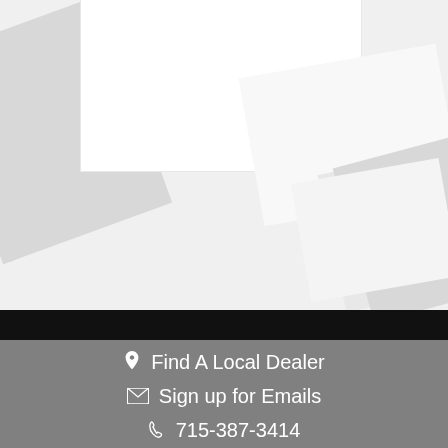[Figure (photo): Light grey background with white and grey rotated rectangular shapes arranged decoratively, resembling abstract geometric design or product/brochure background.]
Find A Local Dealer
Sign up for Emails
715-387-3414